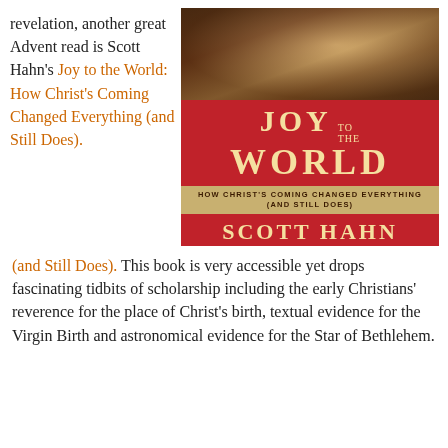revelation, another great Advent read is Scott Hahn's Joy to the World: How Christ's Coming Changed Everything (and Still Does). This book is very accessible yet drops fascinating tidbits of scholarship including the early Christians' reverence for the place of Christ's birth, textual evidence for the Virgin Birth and astronomical evidence for the Star of Bethlehem.
[Figure (illustration): Book cover of 'Joy to the World: How Christ's Coming Changed Everything (And Still Does)' by Scott Hahn. Red cover with gold title text, tan subtitle band, and classical religious painting at top.]